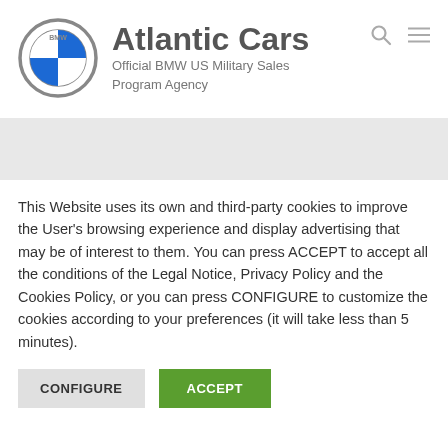[Figure (logo): BMW Atlantic Cars logo with BMW roundel and text 'Atlantic Cars - Official BMW US Military Sales Program Agency']
[Figure (other): Gray navigation bar placeholder]
This Website uses its own and third-party cookies to improve the User's browsing experience and display advertising that may be of interest to them. You can press ACCEPT to accept all the conditions of the Legal Notice, Privacy Policy and the Cookies Policy, or you can press CONFIGURE to customize the cookies according to your preferences (it will take less than 5 minutes).
CONFIGURE | ACCEPT